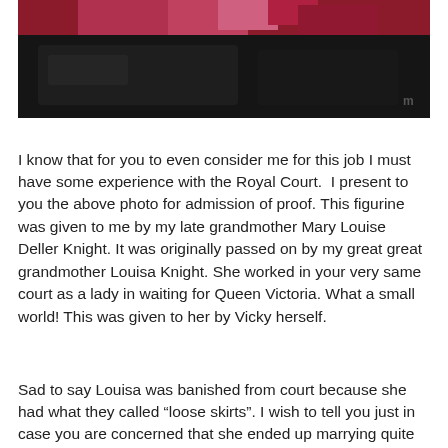[Figure (photo): A dark photograph showing what appears to be a decorative figurine box with red and black coloring, partially visible.]
I know that for you to even consider me for this job I must have some experience with the Royal Court.  I present to you the above photo for admission of proof. This figurine was given to me by my late grandmother Mary Louise Deller Knight. It was originally passed on by my great great grandmother Louisa Knight. She worked in your very same court as a lady in waiting for Queen Victoria. What a small world! This was given to her by Vicky herself.
Sad to say Louisa was banished from court because she had what they called “loose skirts”. I wish to tell you just in case you are concerned that she ended up marrying quite